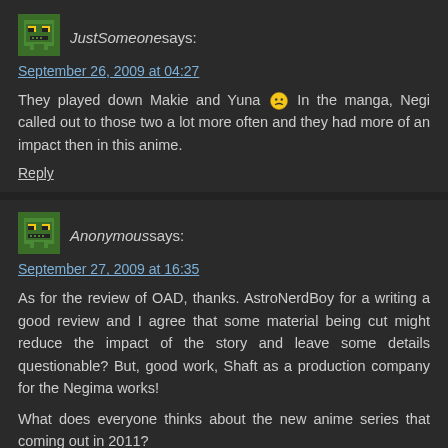[Figure (other): Green pixel art avatar icon for user JustSomeone]
JustSomeone says:
September 26, 2009 at 04:27
They played down Makie and Yuna 🙁 In the manga, Negi called out to those two a lot more often and they had more of an impact then in this anime.
Reply
[Figure (other): Green pixel art avatar icon for Anonymous user]
Anonymous says:
September 27, 2009 at 16:35
As for the review of OAD, thanks. AstroNerdBoy for a writing a good review and I agree that some material being cut might reduce the impact of the story and leave some details questionable? But, good work, Shaft as a production company for the Negima works!
What does everyone thinks about the new anime series that coming out in 2011?
Here is the link:
http://www.animenewsnetwork.com/news/2009-09-05/negima-anime-feature-confirmed-for-2011